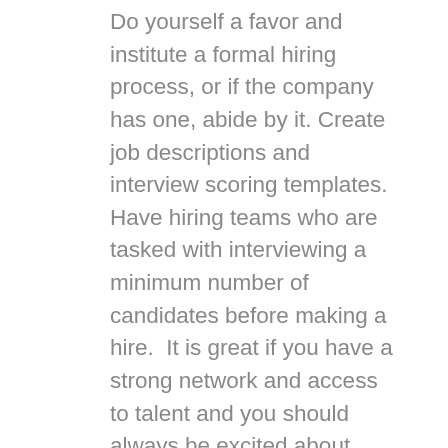Do yourself a favor and institute a formal hiring process, or if the company has one, abide by it. Create job descriptions and interview scoring templates.  Have hiring teams who are tasked with interviewing a minimum number of candidates before making a hire.  It is great if you have a strong network and access to talent and you should always be excited about bringing people from your network into the process – as long as you tell people to hire the best person and not the person you know.  Maybe you should interview the top three candidates and form your own opinion of who is truly the best individual for the situation.  Require relocation of new hires if the job is an on-site job.  You will still end up hiring some people with whom you worked before and that's ok, because everyone will agree that they are great and were part of the process.  Even then, team